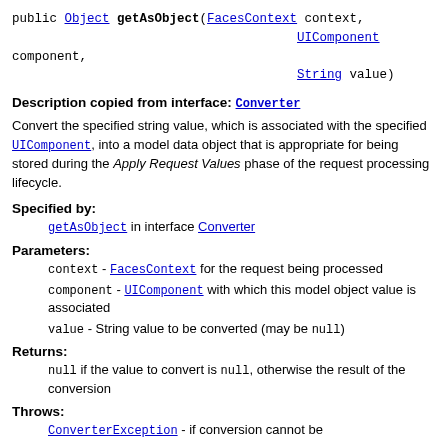public Object getAsObject(FacesContext context, UIComponent component, String value)
Description copied from interface: Converter
Convert the specified string value, which is associated with the specified UIComponent, into a model data object that is appropriate for being stored during the Apply Request Values phase of the request processing lifecycle.
Specified by:
getAsObject in interface Converter
Parameters:
context - FacesContext for the request being processed
component - UIComponent with which this model object value is associated
value - String value to be converted (may be null)
Returns:
null if the value to convert is null, otherwise the result of the conversion
Throws:
ConverterException - if conversion cannot be